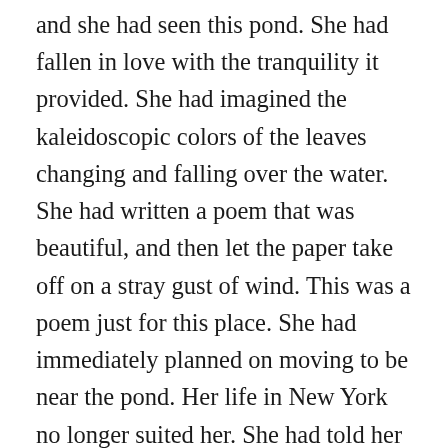and she had seen this pond. She had fallen in love with the tranquility it provided. She had imagined the kaleidoscopic colors of the leaves changing and falling over the water. She had written a poem that was beautiful, and then let the paper take off on a stray gust of wind. This was a poem just for this place. She had immediately planned on moving to be near the pond. Her life in New York no longer suited her. She had told her publisher simply that she was “inspired.” She had packed her belongings in a bright red suitcase and journeyed back. She needed to be near this place. She took a red eye flight and arrived as sun glistened through the windows of the airplane. She walked with a confident stride as she wrapped one of her scarves around her long black hair.